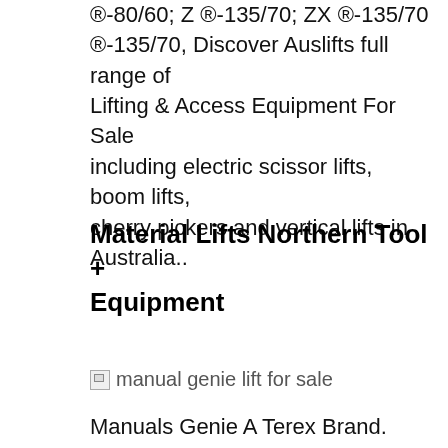®-80/60; Z ®-135/70; ZX ®-135/70 ®-135/70, Discover Auslifts full range of Lifting & Access Equipment For Sale including electric scissor lifts, boom lifts, cherry pickers and vertical lifts in Australia..
Material Lifts Northern Tool + Equipment
[Figure (photo): Broken image placeholder with alt text: manual genie lift for sale]
Manuals Genie A Terex Brand. JUST IN!!! 2007 GENIE Z45/25 ARTICULATING ROUGH TERRAIN BOOM LIFT. FULLY SERVICED. FORD DUAL FUEL ENGINE, ONLY 3736 HOURS - 500 LB lift capacity, ANSI INSPECTED - WORK/RENT READY!!!